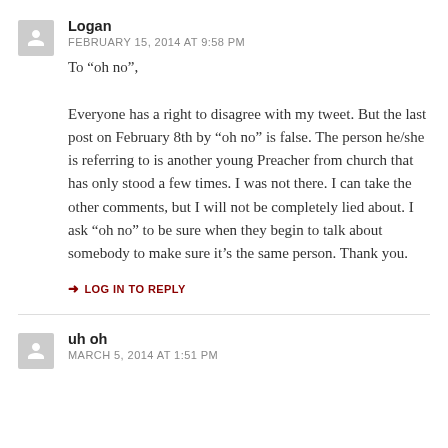Logan
FEBRUARY 15, 2014 AT 9:58 PM
To “oh no”,

Everyone has a right to disagree with my tweet. But the last post on February 8th by “oh no” is false. The person he/she is referring to is another young Preacher from church that has only stood a few times. I was not there. I can take the other comments, but I will not be completely lied about. I ask “oh no” to be sure when they begin to talk about somebody to make sure it’s the same person. Thank you.
LOG IN TO REPLY
uh oh
MARCH 5, 2014 AT 1:51 PM